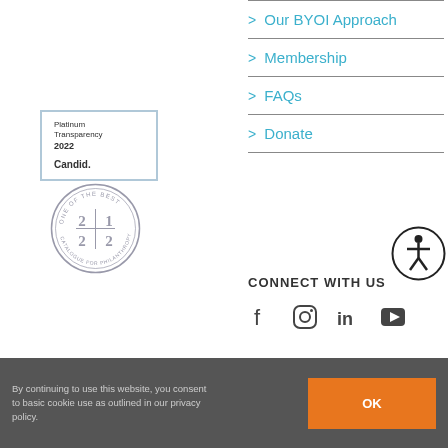[Figure (logo): Candid Platinum Transparency 2022 badge (rectangular, blue border) and Catalogue for Philanthropy '21|22 One of the Best seal (circular stamp)]
> Our BYOI Approach
> Membership
> FAQs
> Donate
[Figure (illustration): Accessibility icon: person in circle]
CONNECT WITH US
[Figure (illustration): Social media icons: Facebook, Instagram, LinkedIn, YouTube]
By continuing to use this website, you consent to basic cookie use as outlined in our privacy policy.